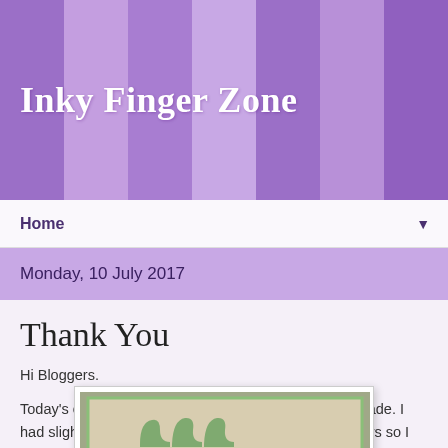Inky Finger Zone
Home
Monday, 10 July 2017
Thank You
Hi Bloggers.
Today's card was a variation of one that Sue Wilson made. I had slightly different dies on the One Day Special shows so I remade it so I could demo it and didn't really manage to demo much of it after all!
[Figure (photo): A handmade greeting card with green decorative die-cut figures on a patterned background, shown inside a white photo frame border]